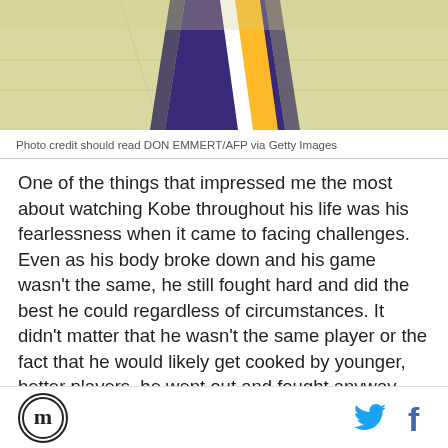[Figure (photo): Partial photo of a basketball player wearing a Lakers purple and gold jersey, shot from below/close up showing jersey and court floor]
Photo credit should read DON EMMERT/AFP via Getty Images
One of the things that impressed me the most about watching Kobe throughout his life was his fearlessness when it came to facing challenges. Even as his body broke down and his game wasn't the same, he still fought hard and did the best he could regardless of circumstances. It didn't matter that he wasn't the same player or the fact that he would likely get cooked by younger, better players, he went out and fought anyway. And even when we all that Musecage was
Logo | Twitter icon | Facebook icon